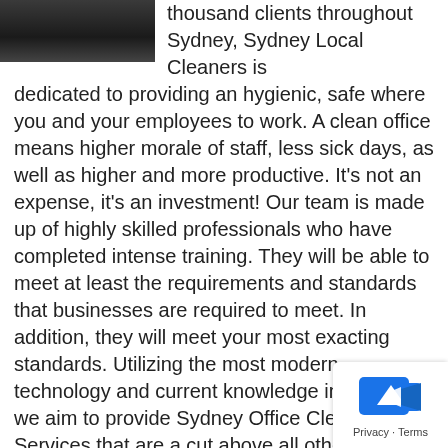[Figure (photo): Dark/greyscale photo partially visible in top-left corner]
thousand clients throughout Sydney, Sydney Local Cleaners is dedicated to providing an hygienic, safe where you and your employees to work. A clean office means higher morale of staff, less sick days, as well as higher and more productive. It's not an expense, it's an investment! Our team is made up of highly skilled professionals who have completed intense training. They will be able to meet at least the requirements and standards that businesses are required to meet. In addition, they will meet your most exacting standards. Utilizing the most modern technology and current knowledge in the field we aim to provide Sydney Office Cleaning Services that are a cut above all others.
How much does a office cleane cost in?